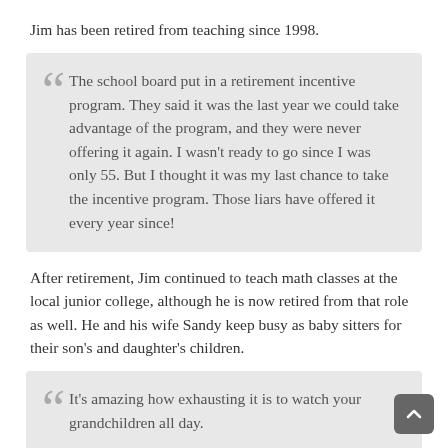Jim has been retired from teaching since 1998.
The school board put in a retirement incentive program. They said it was the last year we could take advantage of the program, and they were never offering it again. I wasn't ready to go since I was only 55. But I thought it was my last chance to take the incentive program. Those liars have offered it every year since!
After retirement, Jim continued to teach math classes at the local junior college, although he is now retired from that role as well. He and his wife Sandy keep busy as baby sitters for their son's and daughter's children.
It's amazing how exhausting it is to watch your grandchildren all day.
Jim continues to help run the national tournament, although he is no longer involved in scorekeeping. He will welcome you with